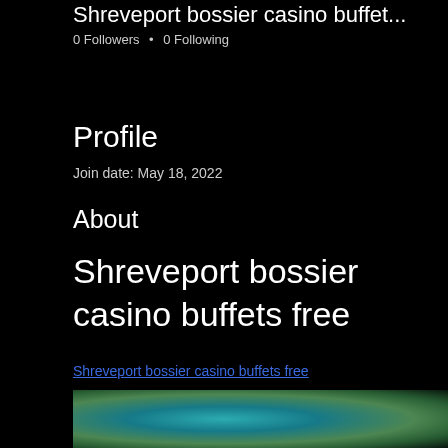Shreveport bossier casino buffet...
0 Followers • 0 Following
Profile
Join date: May 18, 2022
About
Shreveport bossier casino buffets free
Shreveport bossier casino buffets free
[Figure (photo): Blurred photo showing teal/turquoise and green colors, likely a casino or venue interior]